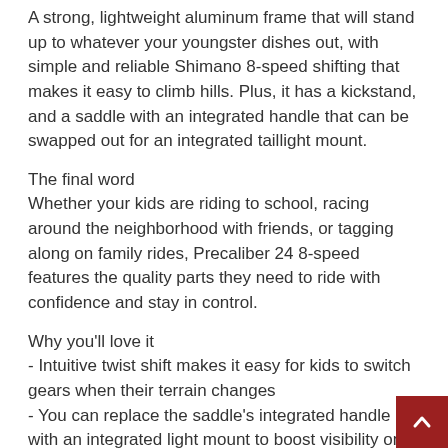A strong, lightweight aluminum frame that will stand up to whatever your youngster dishes out, with simple and reliable Shimano 8-speed shifting that makes it easy to climb hills. Plus, it has a kickstand, and a saddle with an integrated handle that can be swapped out for an integrated taillight mount.
The final word
Whether your kids are riding to school, racing around the neighborhood with friends, or tagging along on family rides, Precaliber 24 8-speed features the quality parts they need to ride with confidence and stay in control.
Why you'll love it
- Intuitive twist shift makes it easy for kids to switch gears when their terrain changes
- You can replace the saddle's integrated handle with an integrated light mount to boost visibility on family adventures and solo excursions
- This bike is hand-me-down because it's built to last, a